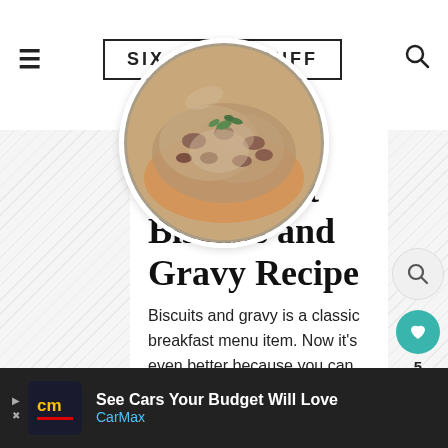SIX SISTERS' STUFF
[Figure (photo): Circular cropped photo of biscuits and gravy with sausage and herbs on top, served on a plate]
SERVES: 6
Instant Pot Biscuits and Gravy Recipe
Biscuits and gravy is a classic breakfast menu item. Now it's even better because you can use your Instant Pot to make tasty gravy from scratch while your biscuits bake in the oven.
[Figure (infographic): Advertisement for CarMax - See Cars Your Budget Will Love]
See Cars Your Budget Will Love - CarMax